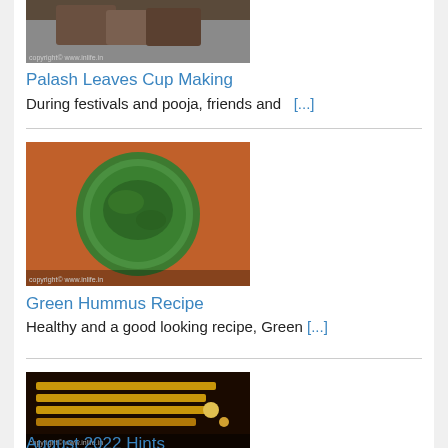[Figure (photo): Cropped photo of hands making Palash leaf cups, dark tones]
Palash Leaves Cup Making
During festivals and pooja, friends and  [...]
[Figure (photo): Green hummus in a steel bowl surrounded by other dishes, top view]
Green Hummus Recipe
Healthy and a good looking recipe, Green [...]
[Figure (photo): August 2022 hints image showing tools and craft materials on dark background]
August 2022 Hints